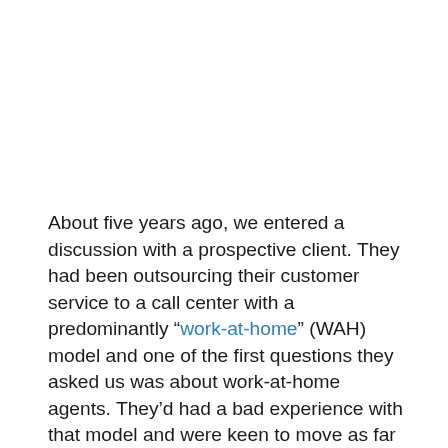About five years ago, we entered a discussion with a prospective client. They had been outsourcing their customer service to a call center with a predominantly “work-at-home” (WAH) model and one of the first questions they asked us was about work-at-home agents. They’d had a bad experience with that model and were keen to move as far away from any work-at-home solution as possible.  We won the business with a solution that was based entirely on using agents located in our center. In those years, we also saw many Requests for Proposals (RFP) for Call Center Services asking questions around WAH with the clear indication that it was not the desired